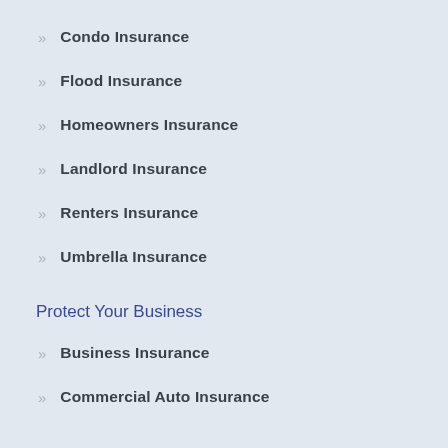Condo Insurance
Flood Insurance
Homeowners Insurance
Landlord Insurance
Renters Insurance
Umbrella Insurance
Protect Your Business
Business Insurance
Commercial Auto Insurance